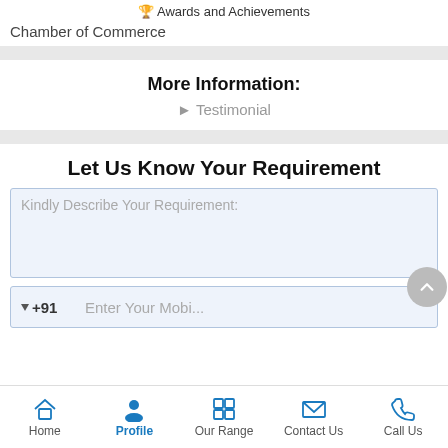Awards and Achievements
Chamber of Commerce
More Information:
Testimonial
Let Us Know Your Requirement
Kindly Describe Your Requirement:
+91  Enter Your Mobile
Home  Profile  Our Range  Contact Us  Call Us